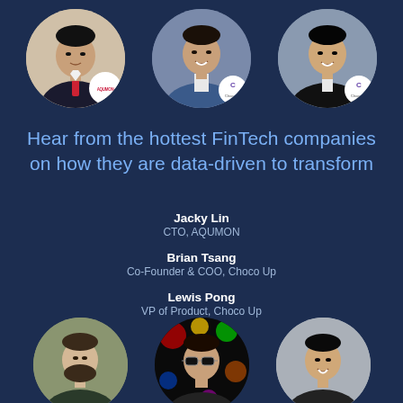[Figure (photo): Three circular profile photos at top: Jacky Lin with AQUMON logo badge, Brian Tsang with Choco Up logo badge, Lewis Pong with Choco Up logo badge]
Hear from the hottest FinTech companies on how they are data-driven to transform
Jacky Lin
CTO, AQUMON
Brian Tsang
Co-Founder & COO, Choco Up
Lewis Pong
VP of Product, Choco Up
[Figure (photo): Three circular profile photos at bottom, partially cropped: a man with beard, a man with sunglasses against colorful background, and a smiling man]